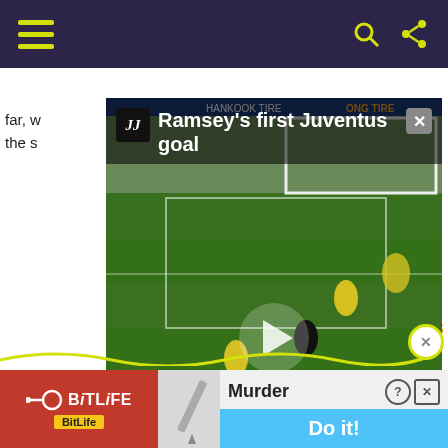[Figure (screenshot): Dark purple navigation bar with yellow/green hamburger menu icon on left and dark mode, search, and share icons on right]
[Figure (screenshot): Embedded soccer video overlay showing Ramsey's first Juventus goal with play button, Juventus logo, close button, and soccer field background with players in black/white and yellow uniforms]
far, w... the s...
Bergkamp ripped it up in 1997/98
Subscribe to our social channels:
Facebook | Instagram | Twitter | YouTube
[Figure (screenshot): BitLife advertisement banner with red background on left showing BitLife logo and yellow badge, right side showing Murder / Do it! text with blue button]